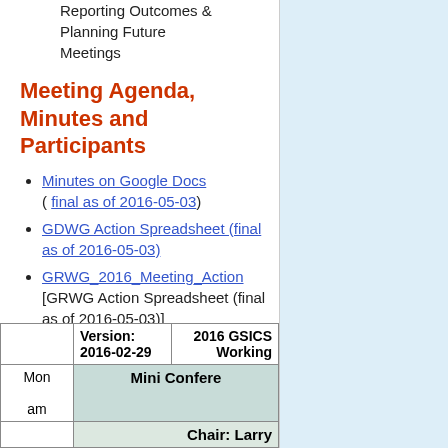Reporting Outcomes & Planning Future Meetings
Meeting Agenda, Minutes and Participants
Minutes on Google Docs ( final as of 2016-05-03)
GDWG Action Spreadsheet (final as of 2016-05-03)
GRWG_2016_Meeting_Action [GRWG Action Spreadsheet (final as of 2016-05-03)]
Participants list
|  | Version: 2016-02-29 | 2016 GSICS Working |
| --- | --- | --- |
| Mon am |  | Mini Conference |
|  |  | Chair: Larry |